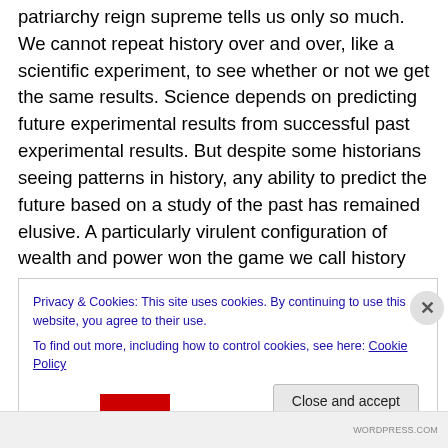patriarchy reign supreme tells us only so much. We cannot repeat history over and over, like a scientific experiment, to see whether or not we get the same results. Science depends on predicting future experimental results from successful past experimental results. But despite some historians seeing patterns in history, any ability to predict the future based on a study of the past has remained elusive. A particularly virulent configuration of wealth and power won the game we call history this time around, but since we can't ever play the game again there's no way to know whether that win was a fluke due to luck or a
Privacy & Cookies: This site uses cookies. By continuing to use this website, you agree to their use.
To find out more, including how to control cookies, see here: Cookie Policy